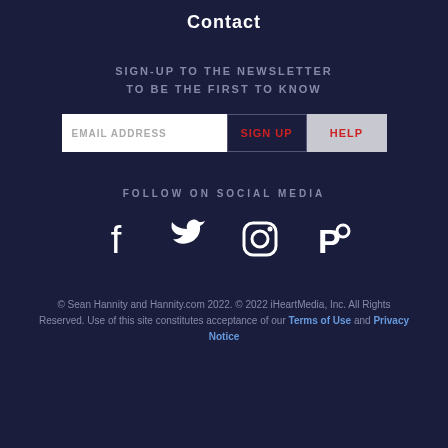Contact
SIGN-UP TO THE NEWSLETTER TO BE THE FIRST TO KNOW
EMAIL ADDRESS  SIGN UP  HELP
FOLLOW ON SOCIAL MEDIA
[Figure (illustration): Social media icons: Facebook, Twitter, Instagram, Parler]
© Sean Hannity and Hannity.com 2022. © 2022 iHeartMedia, Inc. All Rights Reserved. Use of this site constitutes acceptance of our Terms of Use and Privacy Notice